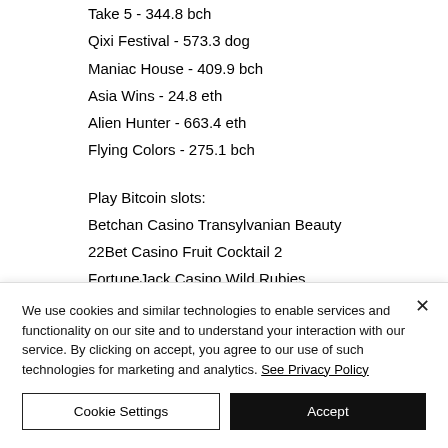Take 5 - 344.8 bch
Qixi Festival - 573.3 dog
Maniac House - 409.9 bch
Asia Wins - 24.8 eth
Alien Hunter - 663.4 eth
Flying Colors - 275.1 bch
Play Bitcoin slots:
Betchan Casino Transylvanian Beauty
22Bet Casino Fruit Cocktail 2
FortuneJack Casino Wild Rubies
Diamond Reels Casino Photo Safari
We use cookies and similar technologies to enable services and functionality on our site and to understand your interaction with our service. By clicking on accept, you agree to our use of such technologies for marketing and analytics. See Privacy Policy
Cookie Settings
Accept